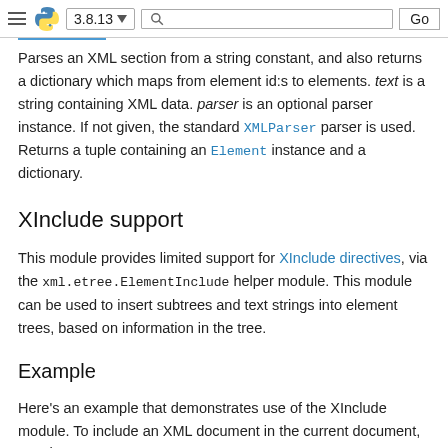3.8.13 [search] Go
Parses an XML section from a string constant, and also returns a dictionary which maps from element id:s to elements. text is a string containing XML data. parser is an optional parser instance. If not given, the standard XMLParser parser is used. Returns a tuple containing an Element instance and a dictionary.
XInclude support
This module provides limited support for XInclude directives, via the xml.etree.ElementInclude helper module. This module can be used to insert subtrees and text strings into element trees, based on information in the tree.
Example
Here's an example that demonstrates use of the XInclude module. To include an XML document in the current document, use the {http://www.w3.org/2001/XInclude}include element and set the parse attribute to "xml", and use the href attribute to specify the document to include.